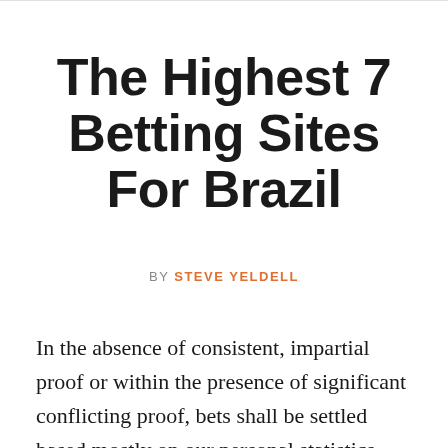The Highest 7 Betting Sites For Brazil
BY STEVE YELDELL
In the absence of consistent, impartial proof or within the presence of significant conflicting proof, bets shall be settled based mostly on our personal statistics. Any profitable Tricast is paid out in accordance